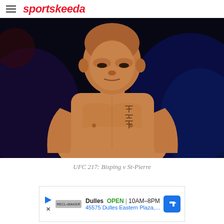sportskeeda
[Figure (photo): MMA fighter Georges St-Pierre shirtless with tattoo on chest, dark arena background, UFC 217 event]
UFC 217: Bisping v St-Pierre
[Figure (other): Google Maps advertisement showing Dulles store location, OPEN 10AM-8PM, 45575 Dulles Eastern Plaza, Suite 171, D]